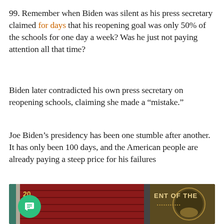99. Remember when Biden was silent as his press secretary claimed for days that his reopening goal was only 50% of the schools for one day a week? Was he just not paying attention all that time?
Biden later contradicted his own press secretary on reopening schools, claiming she made a “mistake.”
Joe Biden’s presidency has been one stumble after another. It has only been 100 days, and the American people are already paying a steep price for his failures
[Figure (photo): Photo showing red-carpeted airplane stairs with a partial view of the Presidential seal on the right side and a teal/silver railing on the left.]